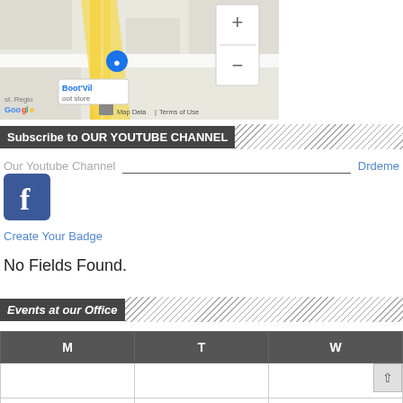[Figure (screenshot): Google Maps embed showing Boot'Vil oot store location with zoom controls (+/-), Google logo, Map Data and Terms of Use labels]
Subscribe to OUR YOUTUBE CHANNEL
Our Youtube Channel   Drdeme
[Figure (logo): Facebook icon - blue rounded square with white f letter]
Create Your Badge
No Fields Found.
Events at our Office
| M | T | W |
| --- | --- | --- |
|  |  |  |
|  |  |  |